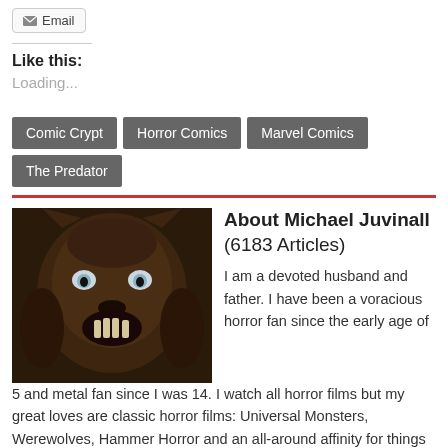[Figure (other): Email button with envelope icon]
Like this:
Loading...
Comic Crypt
Horror Comics
Marvel Comics
The Predator
About Michael Juvinall (6183 Articles)
I am a devoted husband and father. I have been a voracious horror fan since the early age of 5 and metal fan since I was 14. I watch all horror films but my great loves are classic horror films: Universal Monsters, Werewolves, Hammer Horror and an all-around affinity for things that go bump in the night! I'm also a huge fan of extreme metal